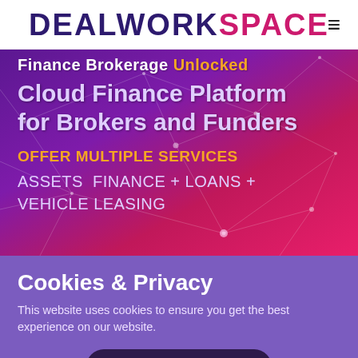DEALWORKSPACE
[Figure (screenshot): Hero banner with purple-to-pink gradient background with network/geometric line overlay. Contains text: Finance Brokerage Unlocked, Cloud Finance Platform for Brokers and Funders, OFFER MULTIPLE SERVICES, ASSETS FINANCE + LOANS + VEHICLE LEASING]
Cookies & Privacy
This website uses cookies to ensure you get the best experience on our website.
CONFIRM